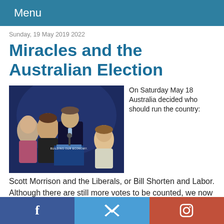Menu
Sunday, 19 May 2019 2022
Miracles and the Australian Election
[Figure (photo): Scott Morrison at a podium with 'BUILDING OUR ECONOMY' sign, accompanied by family members including his wife and two daughters, in front of a dark blue background.]
On Saturday May 18 Australia decided who should run the country: Scott Morrison and the Liberals, or Bill Shorten and Labor. Although there are still more votes to be counted, we now know the results: the Liberal/National Coalition will get back into office
Facebook  Twitter  Instagram